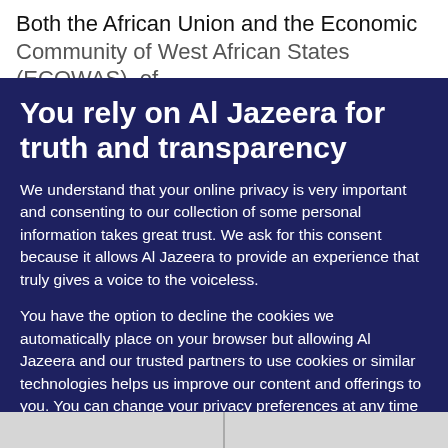Both the African Union and the Economic Community of West African States (ECOWAS), of
You rely on Al Jazeera for truth and transparency
We understand that your online privacy is very important and consenting to our collection of some personal information takes great trust. We ask for this consent because it allows Al Jazeera to provide an experience that truly gives a voice to the voiceless.
You have the option to decline the cookies we automatically place on your browser but allowing Al Jazeera and our trusted partners to use cookies or similar technologies helps us improve our content and offerings to you. You can change your privacy preferences at any time by selecting 'Cookie preferences' at the bottom of your screen. To learn more, please view our Cookie Policy.